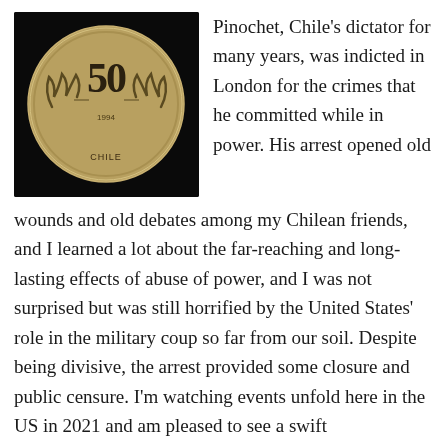[Figure (photo): Close-up photograph of a Chilean 50 peso coin against a dark/black background]
Pinochet, Chile's dictator for many years, was indicted in London for the crimes that he committed while in power.  His arrest opened old wounds and old debates among my Chilean friends, and I learned a lot about the far-reaching and long-lasting effects of abuse of power, and I was not surprised but was still horrified by the United States' role in the military coup so far from our soil. Despite being divisive, the arrest provided some closure and public censure.  I'm watching events unfold here in the US in 2021 and am pleased to see a swift impeachment, but wonder what all of the long-lasting ripples of this presidency will be.